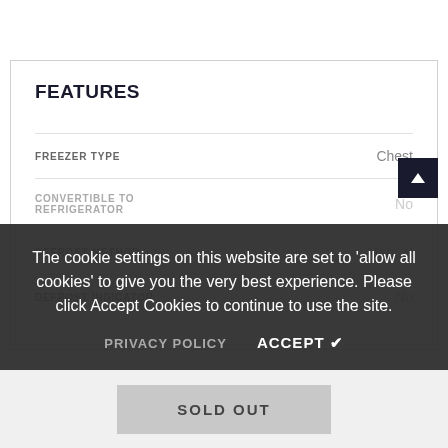FEATURES
|  |  |
| --- | --- |
| FREEZER TYPE | Chest |
| CONVERTIBLE TO REFRIGERATOR | No |
| DEFROST METHOD | Manual |
| DEFROST INDICATOR | No |
The cookie settings on this website are set to 'allow all cookies' to give you the very best experience. Please click Accept Cookies to continue to use the site.
PRIVACY POLICY   ACCEPT ✔
SOLD OUT